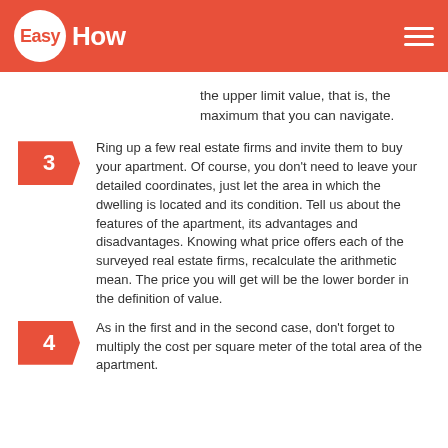EasyHow
the upper limit value, that is, the maximum that you can navigate.
3 Ring up a few real estate firms and invite them to buy your apartment. Of course, you don't need to leave your detailed coordinates, just let the area in which the dwelling is located and its condition. Tell us about the features of the apartment, its advantages and disadvantages. Knowing what price offers each of the surveyed real estate firms, recalculate the arithmetic mean. The price you will get will be the lower border in the definition of value.
4 As in the first and in the second case, don't forget to multiply the cost per square meter of the total area of the apartment.